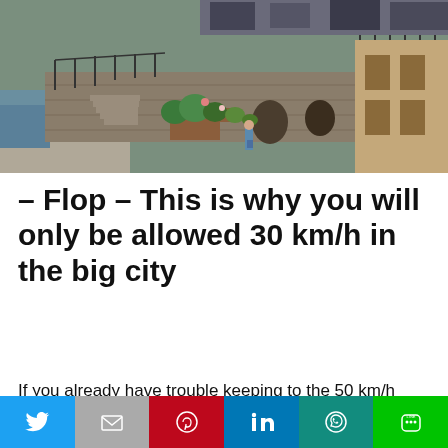[Figure (photo): Canal-side street scene in a European city with stone walls, steps, flower planters, parked cars and bicycles visible above]
– Flop – This is why you will only be allowed 30 km/h in the big city
If you already have trouble keeping to the 50 km/h
This website uses cookies.
Twitter | Email | Pinterest | LinkedIn | WhatsApp | Line